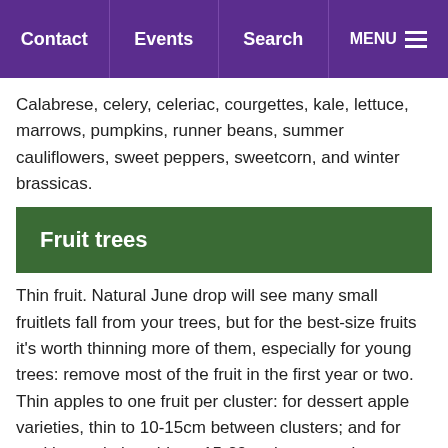Contact | Events | Search | MENU
Calabrese, celery, celeriac, courgettes, kale, lettuce, marrows, pumpkins, runner beans, summer cauliflowers, sweet peppers, sweetcorn, and winter brassicas.
Fruit trees
Thin fruit. Natural June drop will see many small fruitlets fall from your trees, but for the best-size fruits it's worth thinning more of them, especially for young trees: remove most of the fruit in the first year or two. Thin apples to one fruit per cluster: for dessert apple varieties, thin to 10-15cm between clusters; and for cooking varieties, thin to 15-23cm between clusters. Pears should be reduced to two